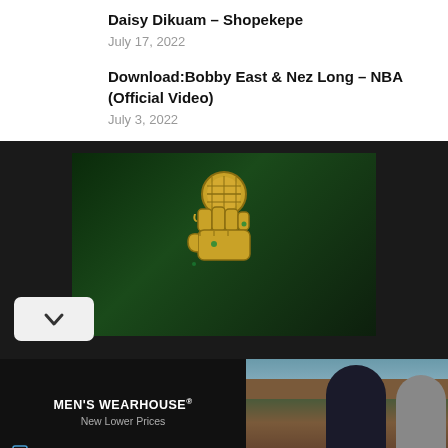Daisy Dikuam – Shopekepe
July 17, 2022
Download:Bobby East & Nez Long – NBA (Official Video)
July 3, 2022
[Figure (illustration): Gold fist holding microphone logo on dark green background, website logo/thumbnail image]
[Figure (photo): Advertisement: Men's Wearhouse New Lower Prices — showing a couple in formal wear and a Joseph Abboud Dark Gray Satin suit priced at $229.99]